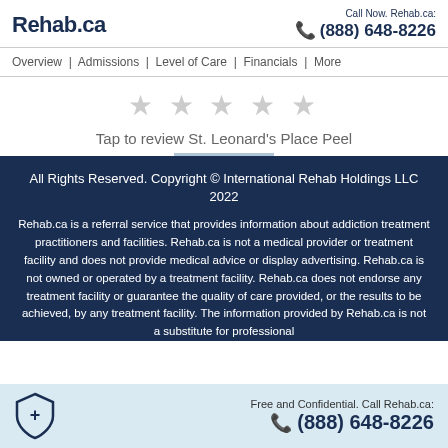Rehab.ca — Call Now. Rehab.ca: (888) 648-8226
Overview | Admissions | Level of Care | Financials | More
[Figure (other): Five empty grey star rating icons]
Tap to review St. Leonard's Place Peel
All Rights Reserved. Copyright © International Rehab Holdings LLC 2022
Rehab.ca is a referral service that provides information about addiction treatment practitioners and facilities. Rehab.ca is not a medical provider or treatment facility and does not provide medical advice or display advertising. Rehab.ca is not owned or operated by a treatment facility. Rehab.ca does not endorse any treatment facility or guarantee the quality of care provided, or the results to be achieved, by any treatment facility. The information provided by Rehab.ca is not a substitute for professional
Free and Confidential. Call Rehab.ca: (888) 648-8226